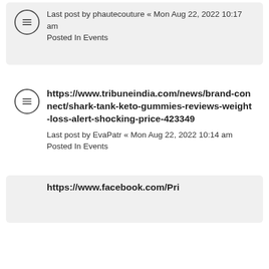Last post by phautecouture « Mon Aug 22, 2022 10:17 am
Posted In Events
https://www.tribuneindia.com/news/brand-connect/shark-tank-keto-gummies-reviews-weight-loss-alert-shocking-price-423349
Last post by EvaPatr « Mon Aug 22, 2022 10:14 am
Posted In Events
https://www.facebook.com/Pri